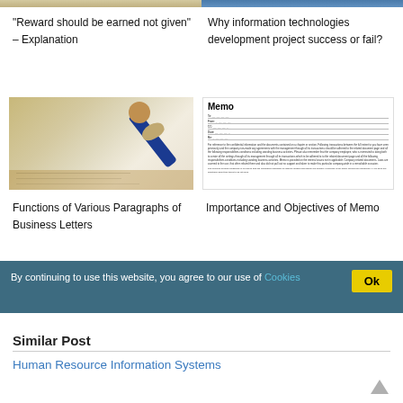[Figure (photo): Partial image at top left, cropped]
[Figure (photo): Partial image at top right, cropped]
“Reward should be earned not given” – Explanation
Why information technologies development project success or fail?
[Figure (photo): Photo of a hand writing with a pen on paper, with a brown folder underneath]
[Figure (other): Image of a Memo document template with fields for To, From, CC, Date, Re and body text]
Functions of Various Paragraphs of Business Letters
Importance and Objectives of Memo
By continuing to use this website, you agree to our use of Cookies
Similar Post
Human Resource Information Systems